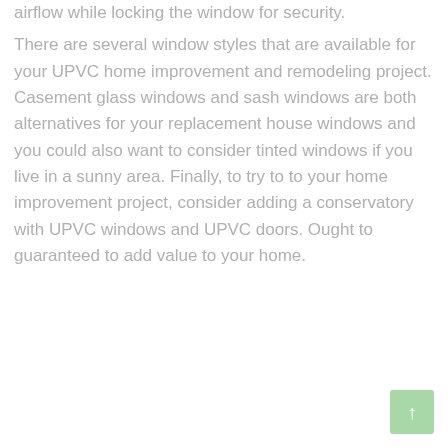airflow while locking the window for security. There are several window styles that are available for your UPVC home improvement and remodeling project. Casement glass windows and sash windows are both alternatives for your replacement house windows and you could also want to consider tinted windows if you live in a sunny area. Finally, to try to to your home improvement project, consider adding a conservatory with UPVC windows and UPVC doors. Ought to guaranteed to add value to your home.
[Figure (other): Back to top button - a light green square button with an upward arrow symbol]